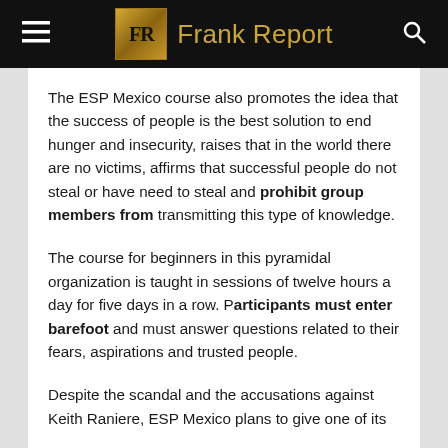Frank Report
The ESP Mexico course also promotes the idea that the success of people is the best solution to end hunger and insecurity, raises that in the world there are no victims, affirms that successful people do not steal or have need to steal and prohibit group members from transmitting this type of knowledge.
The course for beginners in this pyramidal organization is taught in sessions of twelve hours a day for five days in a row. Participants must enter barefoot and must answer questions related to their fears, aspirations and trusted people.
Despite the scandal and the accusations against Keith Raniere, ESP Mexico plans to give one of its